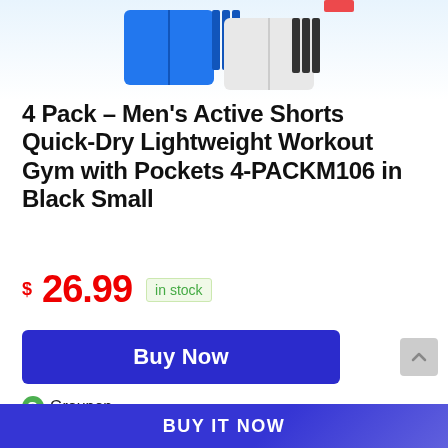[Figure (photo): Partial product image of men's active shorts in blue and black/white, cropped at top]
4 Pack - Men's Active Shorts Quick-Dry Lightweight Workout Gym with Pockets 4-PACKM106 in Black Small
$26.99  in stock
Buy Now
[Figure (logo): Groupon logo with green G icon]
$12.99
Last update was on: 11/08/2022 5:06 AM
BUY IT NOW